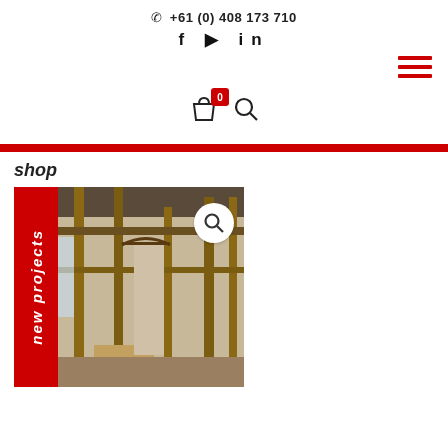+61 (0) 408 173 710
f ▶ in
[Figure (infographic): Red hamburger menu icon (three red horizontal lines) in top-right corner]
[Figure (infographic): Shopping bag icon with red badge showing '0', and a magnifying glass search icon]
shop
[Figure (photo): Construction site interior photo showing wooden framing and hallway, with red sidebar labeled 'new projects' in italic white text, and a circular magnifying glass zoom button overlay]